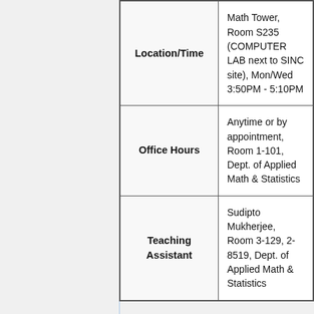| Label | Value |
| --- | --- |
| Location/Time | Math Tower, Room S235 (COMPUTER LAB next to SINC site), Mon/Wed 3:50PM - 5:10PM |
| Office Hours | Anytime or by appointment, Room 1-101, Dept. of Applied Math & Statistics |
| Teaching Assistant | Sudipto Mukherjee, Room 3-129, 2-8519, Dept. of Applied Math & Statistics |